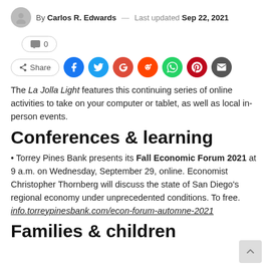By Carlos R. Edwards — Last updated Sep 22, 2021
The La Jolla Light features this continuing series of online activities to take on your computer or tablet, as well as local in-person events.
Conferences & learning
Torrey Pines Bank presents its Fall Economic Forum 2021 at 9 a.m. on Wednesday, September 29, online. Economist Christopher Thornberg will discuss the state of San Diego's regional economy under unprecedented conditions. To free. info.torreypinesbank.com/econ-forum-automne-2021